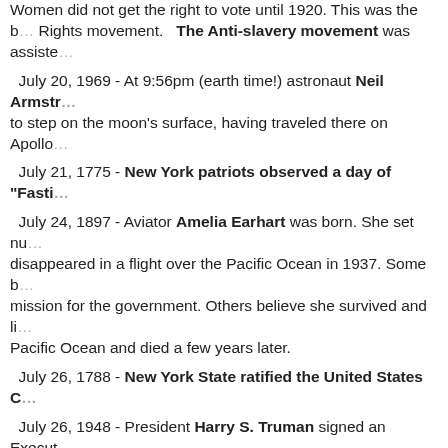Women did not get the right to vote until 1920. This was the beginning of the Civil Rights movement. The Anti-slavery movement was assisted...
July 20, 1969 - At 9:56pm (earth time!) astronaut Neil Armstrong became the first to step on the moon's surface, having traveled there on Apollo...
July 21, 1775 - New York patriots observed a day of "Fasting...
July 24, 1897 - Aviator Amelia Earhart was born. She set numerous records and disappeared in a flight over the Pacific Ocean in 1937. Some believed she was on a mission for the government. Others believe she survived and lived on an island in the Pacific Ocean and died a few years later.
July 26, 1788 - New York State ratified the United States C...
July 26, 1948 - President Harry S. Truman signed an Executive Order that there should be "equality of treatment and opportunity without regard to race, color, religion, or national origin" in the United States Armed Forces.
July 28, 1868 - The 14th Amendment to the United States Constitution was ratified and granted African-Americans full citizenship rights.
July 30, 1941 - President Franklin D. Roosevelt signed the Navy bill creating the WAVES: Women Accepted for Volunteer Emergency Servi...
July 31, 1777 - The Marquis de Lafayette was appointed a Major General in the Continental Army. He served under George Washington and Alexander Hamilton, the future Secretary of the Treasury. When he was later imprisoned during the French Revolution, his son came here and lived with the Hamilton...